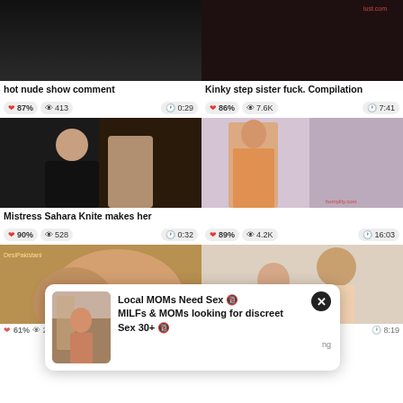[Figure (screenshot): Video thumbnail - top left, partially cut at top, dark content]
hot nude show comment
❤ 87%  👁 413  🕐 0:29
[Figure (screenshot): Video thumbnail - top right, partially cut at top]
Kinky step sister fuck. Compilation
❤ 86%  👁 7.6K  🕐 7:41
[Figure (screenshot): Video thumbnail - two women, black outfit]
Mistress Sahara Knite makes her
❤ 90%  👁 528  🕐 0:32
[Figure (screenshot): Video thumbnail - woman in saree]
❤ 89%  👁 4.2K  🕐 16:03
[Figure (screenshot): Video thumbnail bottom left - partially shown]
[Figure (screenshot): Video thumbnail bottom right - partially shown]
Re... 61%  👁 2.6K  🕐 13:25   ❤ 60%  👁 11.1K  🕐 8:19
[Figure (advertisement): Ad overlay: Local MOMs Need Sex 🔞 MILFs & MOMs looking for discreet Sex 30+ 🔞, with close button]